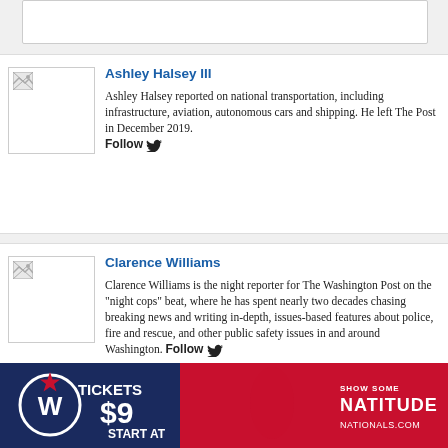[Figure (other): White box at top of page (partial content above)]
Ashley Halsey III
Ashley Halsey reported on national transportation, including infrastructure, aviation, autonomous cars and shipping. He left The Post in December 2019. Follow
Clarence Williams
Clarence Williams is the night reporter for The Washington Post on the "night cops" beat, where he has spent nearly two decades chasing breaking news and writing in-depth, issues-based features about police, fire and rescue, and other public safety issues in and around Washington. Follow
Sari Horwitz
Sari Horwitz is a Pulitzer Prize-winning investigative reporter who covers criminal justice issues for The
[Figure (illustration): Advertisement banner for Washington Nationals tickets starting at $9, with team logo, player photo, and 'Show Some Natitude' tagline. NATIONALS.COM]